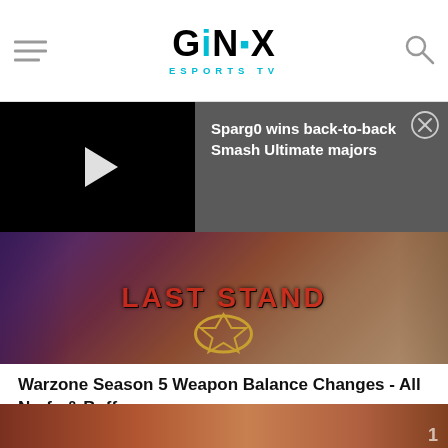GINX ESPORTS TV
Sparg0 wins back-to-back Smash Ultimate majors
[Figure (screenshot): Warzone Last Stand game artwork showing emblems and text]
Warzone Season 5 Weapon Balance Changes - All Nerfs & Buffs
1 day ago | Call of Duty
[Figure (photo): Partial view of next article thumbnail image]